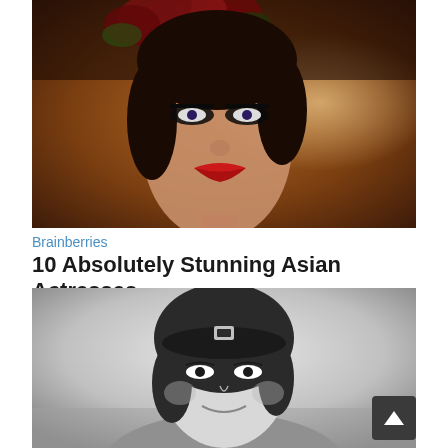[Figure (photo): Color photograph of a woman with dramatic makeup including red lipstick and heavy eye makeup, wearing a floral headpiece with dark red roses, against a warm golden-brown background.]
Brainberries
10 Absolutely Stunning Asian Actresses
[Figure (photo): Black and white photograph of a smiling woman wearing a military-style cap with insignia, with dark curly hair.]